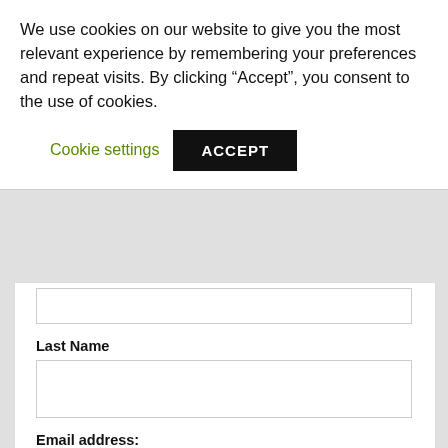We use cookies on our website to give you the most relevant experience by remembering your preferences and repeat visits. By clicking “Accept”, you consent to the use of cookies.
Cookie settings
ACCEPT
Last Name
Email address:
Your email address
SIGN UP